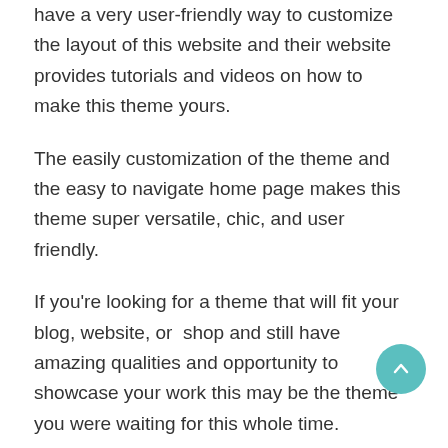have a very user-friendly way to customize the layout of this website and their website provides tutorials and videos on how to make this theme yours.
The easily customization of the theme and the easy to navigate home page makes this theme super versatile, chic, and user friendly.
If you're looking for a theme that will fit your blog, website, or  shop and still have amazing qualities and opportunity to showcase your work this may be the theme you were waiting for this whole time.
What's included in this amazing theme?
Fully Responsive – means this theme looks great on iPads, phones, and other mobile devices, smartly